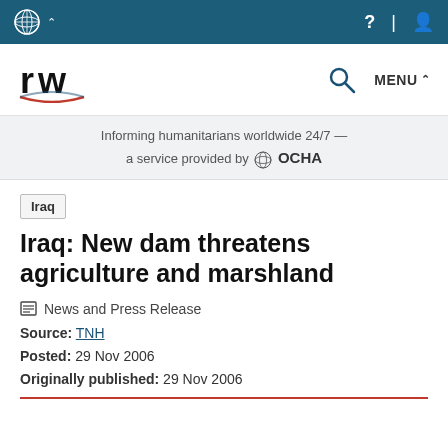ReliefWeb — UN OCHA navigation bar
Informing humanitarians worldwide 24/7 — a service provided by OCHA
Iraq
Iraq: New dam threatens agriculture and marshland
News and Press Release
Source: TNH
Posted: 29 Nov 2006
Originally published: 29 Nov 2006